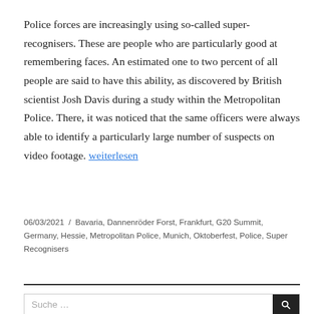Police forces are increasingly using so-called super-recognisers. These are people who are particularly good at remembering faces. An estimated one to two percent of all people are said to have this ability, as discovered by British scientist Josh Davis during a study within the Metropolitan Police. There, it was noticed that the same officers were always able to identify a particularly large number of suspects on video footage. weiterlesen
06/03/2021 / Bavaria, Dannenröder Forst, Frankfurt, G20 Summit, Germany, Hessie, Metropolitan Police, Munich, Oktoberfest, Police, Super Recognisers